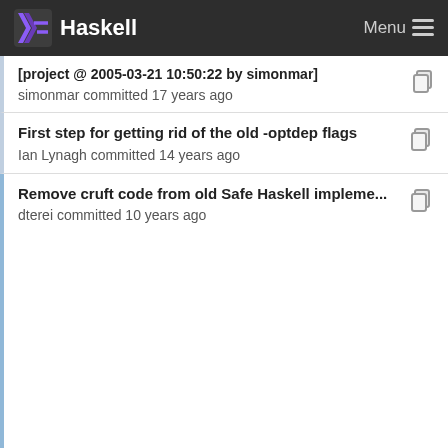Haskell  Menu
[project @ 2005-03-21 10:50:22 by simonmar]
simonmar committed 17 years ago
First step for getting rid of the old -optdep flags
Ian Lynagh committed 14 years ago
Remove cruft code from old Safe Haskell impleme...
dterei committed 10 years ago
First step for getting rid of the old -optdep flags
Ian Lynagh committed 14 years ago
Whitespace only in DynFlags